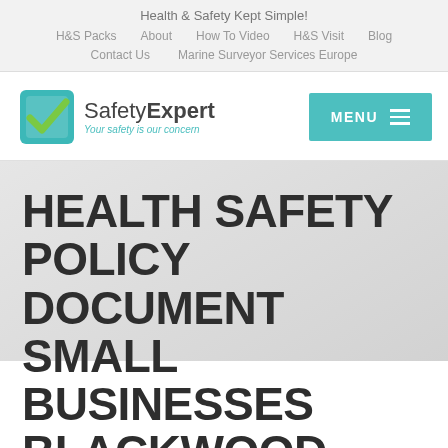Health & Safety Kept Simple!
H&S Packs | About | How To Video | H&S Visit | Blog
Contact Us | Marine Surveyor Services Europe
[Figure (logo): SafetyExpert logo with teal checkbox and tagline 'Your safety is our concern']
HEALTH SAFETY POLICY DOCUMENT SMALL BUSINESSES BLACKWOOD